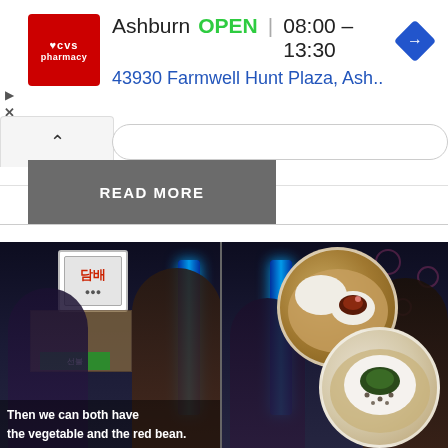[Figure (screenshot): CVS Pharmacy advertisement banner showing store location in Ashburn, OPEN 08:00-13:30, address 43930 Farmwell Hunt Plaza, Ash.., with CVS logo and navigation arrow icon]
READ MORE
[Figure (photo): Split Korean drama scene showing two characters at what appears to be a street food stall, with an overlay of two circular images showing steamed buns (one with red bean filling, one with vegetable filling). Subtitle text reads: 'Then we can both have the vegetable and the red bean.']
Then we can both have the vegetable and the red bean.